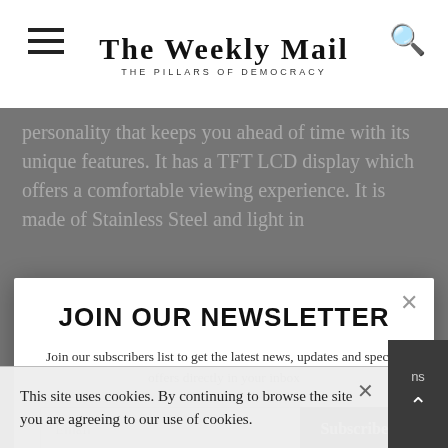The Weekly Mail — THE PILLARS OF DEMOCRACY
personality that keeps you ahead of time with its unique features. It has a TFT LCD display which offers a comfortable viewing experience. It is made of Stainless Steel and light in
JOIN OUR NEWSLETTER
Join our subscribers list to get the latest news, updates and special offers directly in your inbox
No, thanks
This site uses cookies. By continuing to browse the site you are agreeing to our use of cookies.